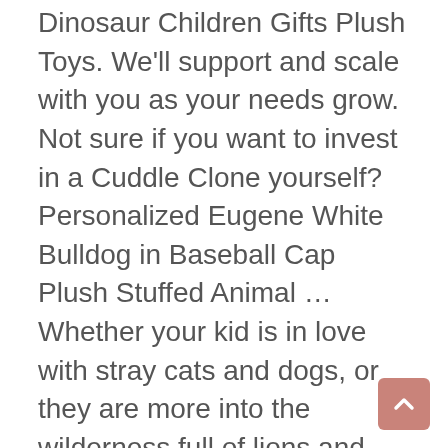Dinosaur Children Gifts Plush Toys. We'll support and scale with you as your needs grow. Not sure if you want to invest in a Cuddle Clone yourself? Personalized Eugene White Bulldog in Baseball Cap Plush Stuffed Animal … Whether your kid is in love with stray cats and dogs, or they are more into the wilderness full of lions and elephants, or their interest lies in the mythical creatures of the lore such as dragons and unicorns, or they are happy with the good old teddy bear – we transform drawings into stuffed animals of any and all kind. Mar 21, 2015 - This website turns your dog into a stuffed animal! Get it as soon as Fri, Aug 28. They would cherish that silly stuffed animal … We do this with marketing and advertising partners (who may have their own information they've collected). Mammals. FREE shipping, HUF47,778 Nov 23, 2018 - We provide the opportunity to personalized your stuffed animal with a colored bandanna or a t-shirt! Available in 14 popular shirt colors to choose from, these cute, cuddly animals